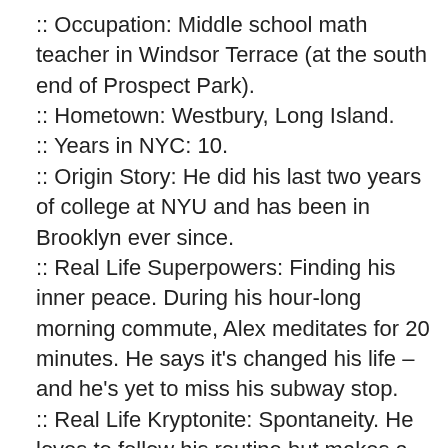:: Occupation: Middle school math teacher in Windsor Terrace (at the south end of Prospect Park).
:: Hometown: Westbury, Long Island.
:: Years in NYC: 10.
:: Origin Story: He did his last two years of college at NYU and has been in Brooklyn ever since.
:: Real Life Superpowers: Finding his inner peace. During his hour-long morning commute, Alex meditates for 20 minutes. He says it’s changed his life – and he’s yet to miss his subway stop.
:: Real Life Kryptonite: Spontaneity. He loves to follow his routine but makes a point of breaking it occasionally. After teaching high school for seven years, he knew he needed to try something new and switched to the middle school.
:: You’ll Be Surprised To Know: Alex is a motorcycle rider and vlogger (codename: fxdlsbrooklyn), and you may have seen his Black Harley parked outside